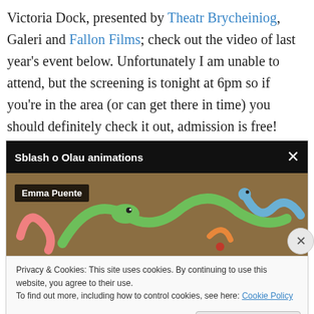Victoria Dock, presented by Theatr Brycheiniog, Galeri and Fallon Films; check out the video of last year's event below. Unfortunately I am unable to attend, but the screening is tonight at 6pm so if you're in the area (or can get there in time) you should definitely check it out, admission is free!
[Figure (screenshot): Embedded video player screenshot titled 'Sblash o Olau animations' with a close button (X) in the top right, a label 'Emma Puente' overlaying clay animation figures. Below the video is a cookie consent bar reading 'Privacy & Cookies: This site uses cookies. By continuing to use this website, you agree to their use. To find out more, including how to control cookies, see here: Cookie Policy' with a 'Close and accept' button.]